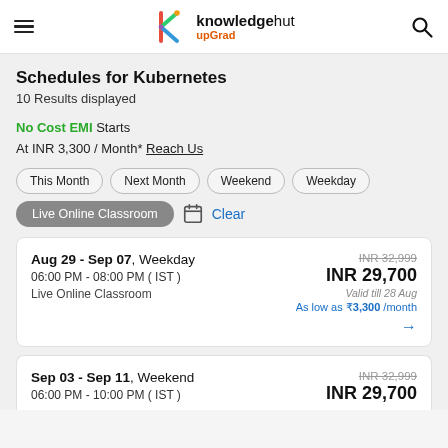knowledgehut upGrad
Schedules for Kubernetes
10 Results displayed
No Cost EMI Starts At INR 3,300 / Month* Reach Us
This Month
Next Month
Weekend
Weekday
Live Online Classroom
Clear
| Date | Type | Time | Original Price | Price | Valid | EMI |
| --- | --- | --- | --- | --- | --- | --- |
| Aug 29 - Sep 07 | Weekday | 06:00 PM - 08:00 PM ( IST ) | INR 32,999 | INR 29,700 | Valid till 28 Aug | As low as ₹3,300 /month |
| Sep 03 - Sep 11 | Weekend | 06:00 PM - 10:00 PM ( IST ) | INR 32,999 | INR 29,700 |  |  |